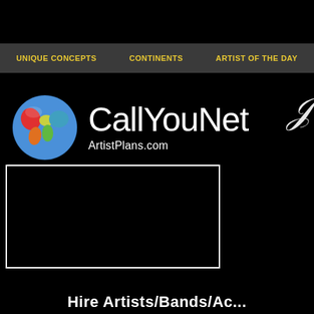UNIQUE CONCEPTS   CONTINENTS   ARTIST OF THE DAY
[Figure (logo): CallYouNet logo with globe icon and text 'CallYouNet ArtistPlans.com']
[Figure (screenshot): Black video/media placeholder box with white border]
Hire Artists/Bands/Ac...